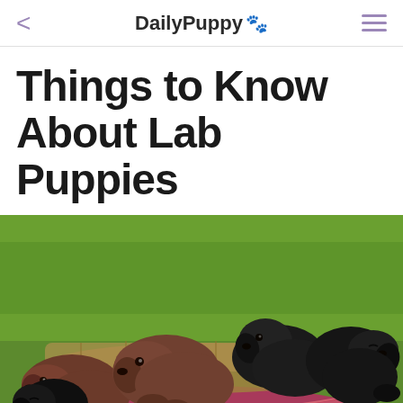DailyPuppy 🐾
Things to Know About Lab Puppies
[Figure (photo): Several black and chocolate Labrador Retriever puppies sleeping and resting together in a pink patterned basket/bed on a green grass background.]